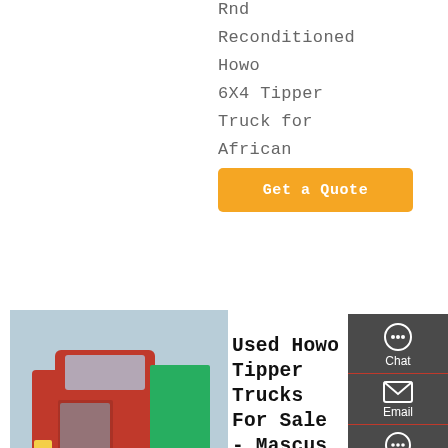Rnd Reconditioned Howo 6X4 Tipper Truck for African Market
Get a Quote
[Figure (photo): Red Howo tipper dump truck parked outdoors, front-left view]
Used Howo Tipper Trucks For Sale - Mascus UK
6x4 HOWO Tipper Used Dump Truck for Sale Sinotruk GH¢ 240,000 Contact me with whatsapp: +8618532668106 inventory: 10 units comments: the exterior